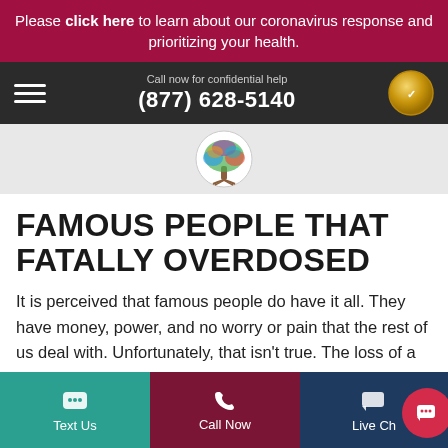Please click here to learn about our coronavirus response and prioritizing your health.
Call now for confidential help (877) 628-5140
[Figure (logo): Colorful tree of life logo in a circle]
FAMOUS PEOPLE THAT FATALLY OVERDOSED
It is perceived that famous people do have it all. They have money, power, and no worry or pain that the rest of us deal with. Unfortunately, that isn't true. The loss of a celebrity or athlete to a drug or alcohol-
Text Us | Call Now | Live Chat